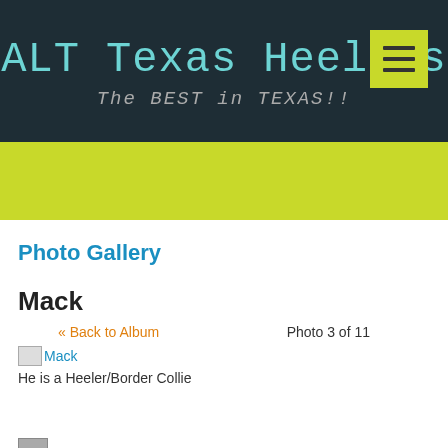ALT Texas Heelers — The BEST in TEXAS!!
Photo Gallery
Mack
« Back to Album
Photo 3 of 11
[Figure (photo): Broken image placeholder labeled Mack]
He is a Heeler/Border Collie
Posted by Ashley on April 1, 2019